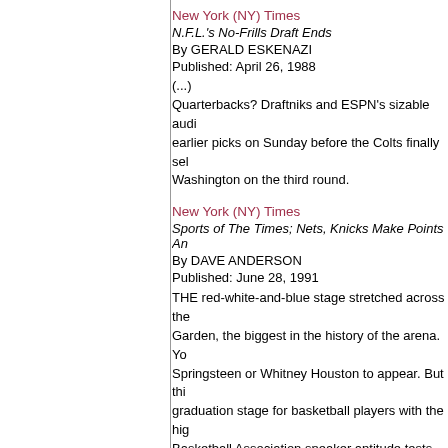New York (NY) Times
N.F.L.'s No-Frills Draft Ends
By GERALD ESKENAZI
Published: April 26, 1988
(...)
Quarterbacks? Draftniks and ESPN's sizable audi earlier picks on Sunday before the Colts finally sel Washington on the third round.
New York (NY) Times
Sports of The Times; Nets, Knicks Make Points An
By DAVE ANDERSON
Published: June 28, 1991
THE red-white-and-blue stage stretched across the Garden, the biggest in the history of the arena. Yo Springsteen or Whitney Houston to appear. But thi graduation stage for basketball players with the hig Basketball Association sneaker aptitude tests.
(...)
In the roar of the draftniks, Kenny Anderson was c
OCLC WorldCat record
300 pounds of attitude : the wildest stories and cra ever seen